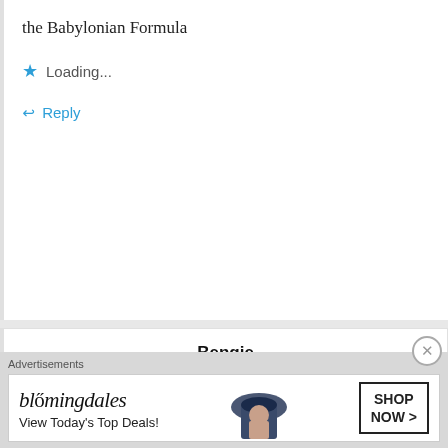the Babylonian Formula
Loading...
Reply
Bengie
May 20, 2021 at 1:40 pm
i like the babylonian formula
Loading...
Advertisements
[Figure (other): Bloomingdale's advertisement banner with logo, 'View Today's Top Deals!' tagline, woman wearing a large hat, and 'SHOP NOW >' button]